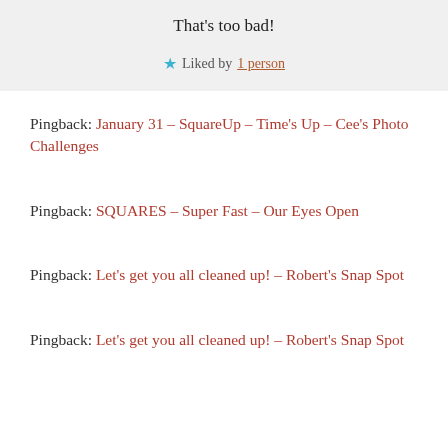That's too bad!
★ Liked by 1 person
Pingback: January 31 – SquareUp – Time's Up – Cee's Photo Challenges
Pingback: SQUARES – Super Fast – Our Eyes Open
Pingback: Let's get you all cleaned up! – Robert's Snap Spot
Pingback: Let's get you all cleaned up! – Robert's Snap Spot